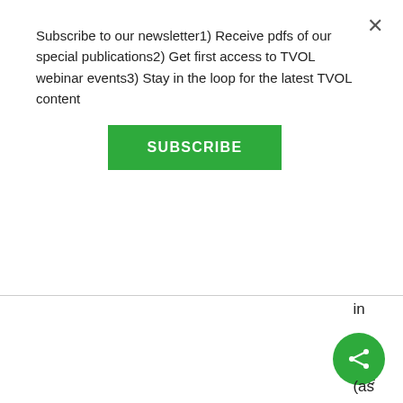Subscribe to our newsletter1) Receive pdfs of our special publications2) Get first access to TVOL webinar events3) Stay in the loop for the latest TVOL content
SUBSCRIBE
in
the
“Ye
as
the
“No
(as